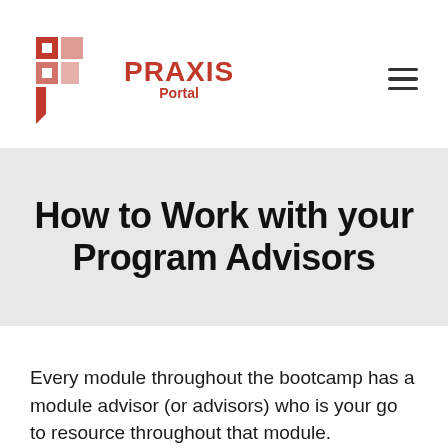[Figure (logo): Praxis Portal logo with red geometric P icon and red text reading PRAXIS Portal]
How to Work with your Program Advisors
Every module throughout the bootcamp has a module advisor (or advisors) who is your go to resource throughout that module.